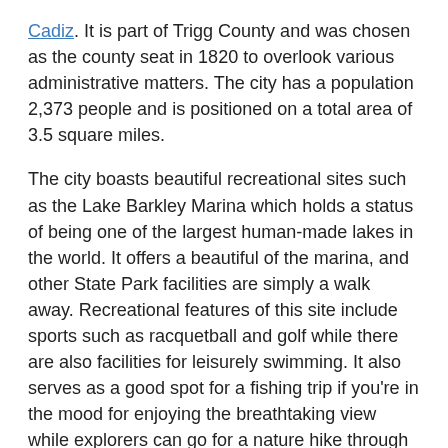Cadiz. It is part of Trigg County and was chosen as the county seat in 1820 to overlook various administrative matters. The city has a population 2,373 people and is positioned on a total area of 3.5 square miles.
The city boasts beautiful recreational sites such as the Lake Barkley Marina which holds a status of being one of the largest human-made lakes in the world. It offers a beautiful of the marina, and other State Park facilities are simply a walk away. Recreational features of this site include sports such as racquetball and golf while there are also facilities for leisurely swimming. It also serves as a good spot for a fishing trip if you're in the mood for enjoying the breathtaking view while explorers can go for a nature hike through the various trails. Relaxing spa treatments are available to highlight your trip as a luxurious experience.
The primary feature of the Woodlands Nature Station is its natural aesthetic, which is what many people enjoy when they visit. It's often described as a 'wonderful place' to take your family since the experience is interactional and